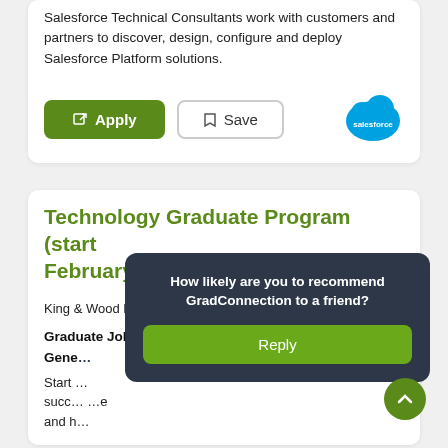Salesforce Technical Consultants work with customers and partners to discover, design, configure and deploy Salesforce Platform solutions.
Apply | Save
[Figure (logo): Salesforce cloud logo in blue]
Technology Graduate Program (start February 2023)
King & Wood Mallesons   CLOSING IN 15 DAYS
Graduate Jobs  •  Sydney
Gene...
Start ... succ... and h...
How likely are you to recommend GradConnection to a friend?
Reply